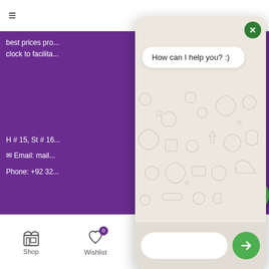[Figure (screenshot): Mobile e-commerce website screenshot with purple background showing a WhatsApp chat popup overlay with 'How can I help you? :)' message bubble, doodle pattern background in the chat, text input field, send button, and bottom navigation bar with Shop, Wishlist, Cart, and My account items.]
best prices pro...
clock to facilita...
H # 15, St # 16...
Email: mail...
Phone: +92 32...
Latest Categ...
Perfume
Zamzam
How can I help you? :)
Shop   Wishlist  0   Cart  0   My account